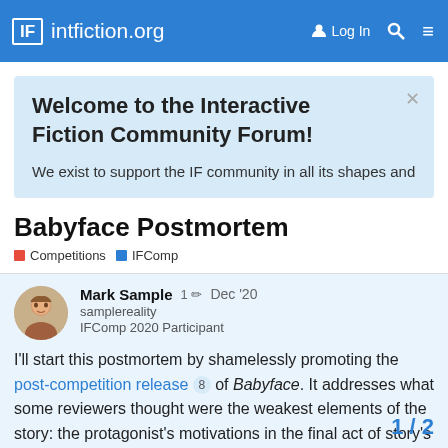IF intfiction.org  Log In
Welcome to the Interactive Fiction Community Forum!
We exist to support the IF community in all its shapes and
Babyface Postmortem
Competitions  IFComp
Mark Sample
samplereality
IFComp 2020 Participant
1  Dec '20
I'll start this postmortem by shamelessly promoting the post-competition release 8 of Babyface. It addresses what some reviewers thought were the weakest elements of the story: the protagonist's motivations in the final act of story's resolution. This release also feature
1 / 2